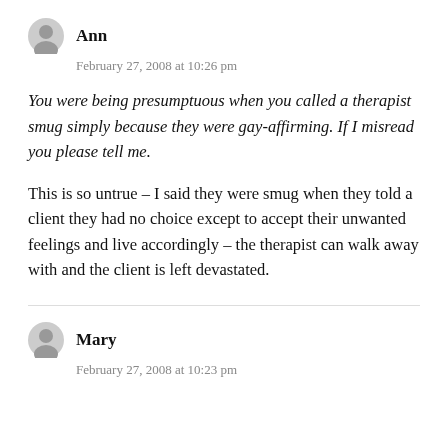Ann
February 27, 2008 at 10:26 pm
You were being presumptuous when you called a therapist smug simply because they were gay-affirming. If I misread you please tell me.
This is so untrue – I said they were smug when they told a client they had no choice except to accept their unwanted feelings and live accordingly – the therapist can walk away with and the client is left devastated.
Mary
February 27, 2008 at 10:23 pm